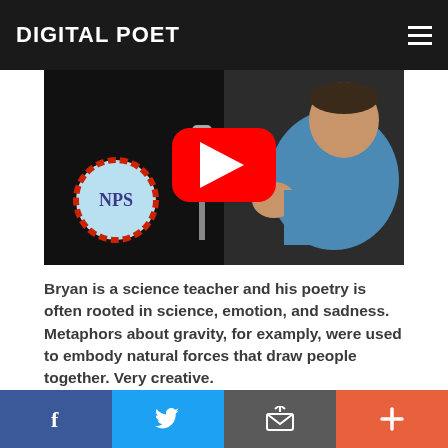DIGITAL POET
[Figure (screenshot): YouTube video thumbnail showing a man performing spoken word poetry at a microphone. NPS (National Poetry Slam) logo circle visible on left. YouTube play button overlay in center.]
Bryan is a science teacher and his poetry is often rooted in science, emotion, and sadness. Metaphors about gravity, for examply, were used to embody natural forces that draw people together. Very creative.
He truly loves to perform and entertain. He puts his all
[Figure (infographic): Social share bar with four buttons: Facebook (blue), Twitter (light blue), Email/share (gray), Plus/add (orange-red)]